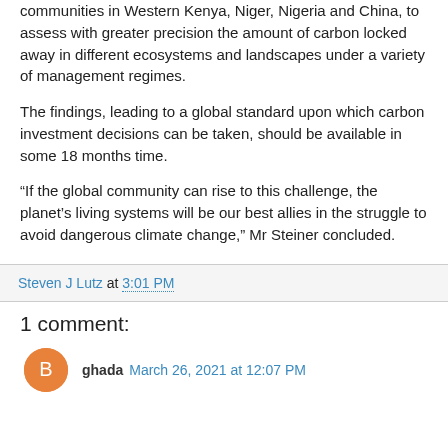communities in Western Kenya, Niger, Nigeria and China, to assess with greater precision the amount of carbon locked away in different ecosystems and landscapes under a variety of management regimes.
The findings, leading to a global standard upon which carbon investment decisions can be taken, should be available in some 18 months time.
“If the global community can rise to this challenge, the planet’s living systems will be our best allies in the struggle to avoid dangerous climate change,” Mr Steiner concluded.
Steven J Lutz at 3:01 PM
1 comment:
ghada March 26, 2021 at 12:07 PM